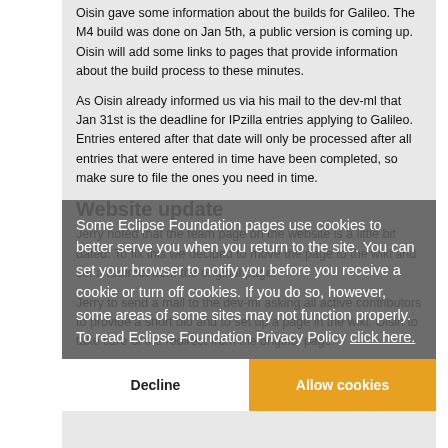Oisin gave some information about the builds for Galileo. The M4 build was done on Jan 5th, a public version is coming up. Oisin will add some links to pages that provide information about the build process to these minutes.
As Oisin already informed us via his mail to the dev-ml that Jan 31st is the deadline for IPzilla entries applying to Galileo. Entries entered after that date will only be processed after all entries that were entered in time have been completed, so make sure to file the ones you need in time.
Website update
Jerry noted that the team page on the website is a little bit dated. To fix this we decided to move the page to the wiki and set a redirect from the original page.
Jerry to send a mail to the dev-ml asking all active contributors to provide a short bio and to set up a page in the wiki. Oisin to take care of the redirect from the original page.
Some Eclipse Foundation pages use cookies to better serve you when you return to the site. You can set your browser to notify you before you receive a cookie or turn off cookies. If you do so, however, some areas of some sites may not function properly. To read Eclipse Foundation Privacy Policy click here.